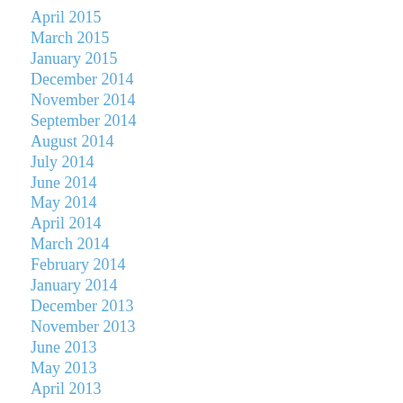April 2015
March 2015
January 2015
December 2014
November 2014
September 2014
August 2014
July 2014
June 2014
May 2014
April 2014
March 2014
February 2014
January 2014
December 2013
November 2013
June 2013
May 2013
April 2013
January 2013